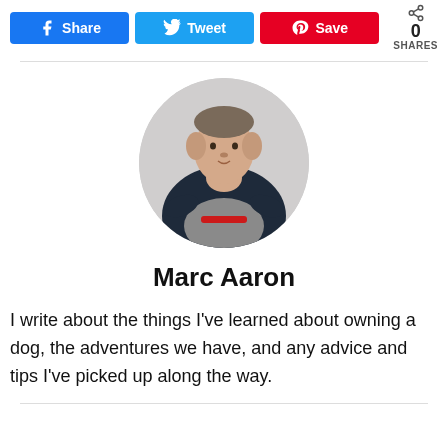[Figure (other): Social share buttons row: Facebook (blue), Twitter (light blue), Pinterest (red), and a share count showing 0 SHARES]
[Figure (photo): Circular profile photo of Marc Aaron, a man in a dark sweater holding a French Bulldog with a red collar]
Marc Aaron
I write about the things I've learned about owning a dog, the adventures we have, and any advice and tips I've picked up along the way.